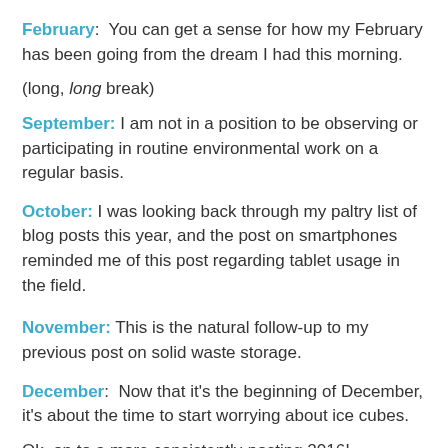February:  You can get a sense for how my February has been going from the dream I had this morning.
(long, long break)
September: I am not in a position to be observing or participating in routine environmental work on a regular basis.
October: I was looking back through my paltry list of blog posts this year, and the post on smartphones reminded me of this post regarding tablet usage in the field.
November: This is the natural follow-up to my previous post on solid waste storage.
December:  Now that it's the beginning of December, it's about the time to start worrying about ice cubes.
Ok, on to a more consistently-posting 2016!